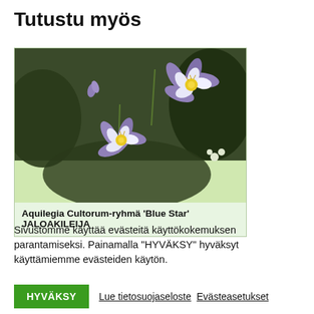Tutustu myös
[Figure (photo): Photo of Aquilegia Cultorum-ryhmä 'Blue Star' flowers — purple and white columbine flowers with yellow centers on a light green card background]
Aquilegia Cultorum-ryhmä 'Blue Star' JALOAKILEIJA
Sivustomme käyttää evästeitä käyttökokemuksen parantamiseksi. Painamalla "HYVÄKSY" hyväksyt käyttämiemme evästeiden käytön.
HYVÄKSY  Lue tietosuojaseloste  Evästeasetukset